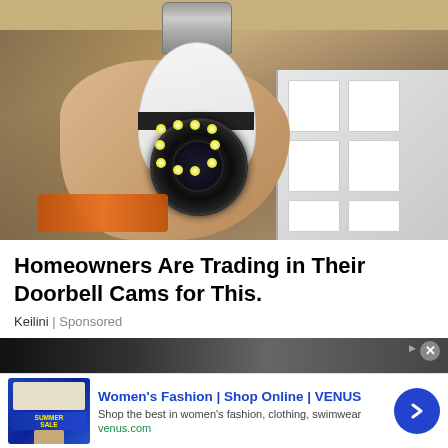[Figure (photo): A hand holding a white security camera shaped like a light bulb with a screw base at top. The camera has a circular lens with LED lights arranged in a ring. Background shows shelving and boxes.]
Homeowners Are Trading in Their Doorbell Cams for This.
Keilini | Sponsored
[Figure (photo): Partial view of another advertisement image showing a dark background.]
[Figure (screenshot): Banner advertisement for Women's Fashion | Shop Online | VENUS. Shows a thumbnail with Summer Sale image. Text: Shop the best in women's fashion, clothing, swimwear. URL: venus.com. Blue circular arrow button on the right.]